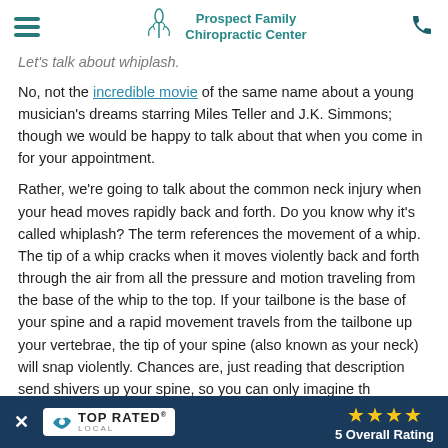Prospect Family Chiropractic Center
Let's talk about whiplash.
No, not the incredible movie of the same name about a young musician's dreams starring Miles Teller and J.K. Simmons; though we would be happy to talk about that when you come in for your appointment.
Rather, we're going to talk about the common neck injury when your head moves rapidly back and forth. Do you know why it's called whiplash? The term references the movement of a whip. The tip of a whip cracks when it moves violently back and forth through the air from all the pressure and motion traveling from the base of the whip to the top. If your tailbone is the base of your spine and a rapid movement travels from the tailbone up your vertebrae, the tip of your spine (also known as your neck) will snap violently. Chances are, just reading that description send shivers up your spine, so you can only imagine th
Let's take a mo